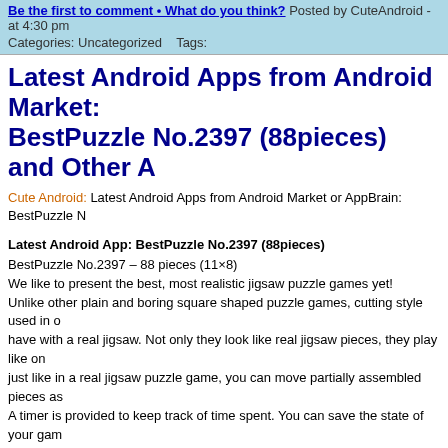Be the first to comment • What do you think? Posted by CuteAndroid - at 4:30 pm
Categories: Uncategorized   Tags:
Latest Android Apps from Android Market: BestPuzzle No.2397 (88pieces) and Other A
Cute Android: Latest Android Apps from Android Market or AppBrain: BestPuzzle N
Latest Android App: BestPuzzle No.2397 (88pieces)
BestPuzzle No.2397 – 88 pieces (11×8)
We like to present the best, most realistic jigsaw puzzle games yet!
Unlike other plain and boring square shaped puzzle games, cutting style used in o have with a real jigsaw. Not only they look like real jigsaw pieces, they play like on just like in a real jigsaw puzzle game, you can move partially assembled pieces as A timer is provided to keep track of time spent. You can save the state of your gam ready.
We will be releasing series of puzzle games. We make sure each game we releas can choose to download and play only the ones you like most. To save internal ph APP2SD on Android 2.2 or better systems.
Once you play our BestPuzzle app, you will never want to go back to the boring o again!
Recent changes:
APP2SD
AppBrain Link: http://www.appbrain.com/app/bestpuzzle-no-2397-%2888pieces%
Latest Android App: AV æ¤œå®š
AV動画無料検索